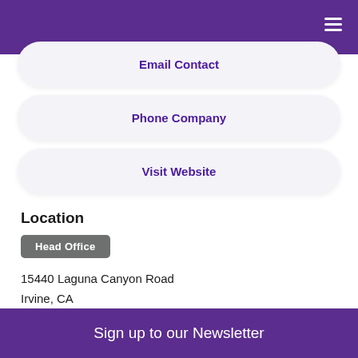Email Contact
Phone Company
Visit Website
Location
Head Office
15440 Laguna Canyon Road
Irvine, CA
CA
US
Telephone
Sign up to our Newsletter